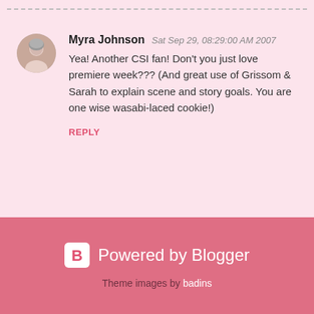Myra Johnson  Sat Sep 29, 08:29:00 AM 2007
Yea! Another CSI fan! Don't you just love premiere week??? (And great use of Grissom & Sarah to explain scene and story goals. You are one wise wasabi-laced cookie!)
REPLY
Enter Comment
Powered by Blogger
Theme images by badins